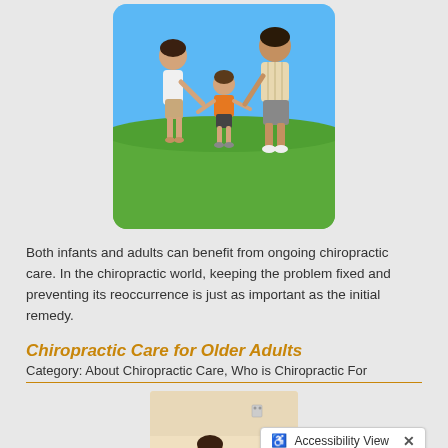[Figure (photo): A family (mother, father, and young child) walking together outdoors on green grass under a blue sky, holding hands.]
Both infants and adults can benefit from ongoing chiropractic care. In the chiropractic world, keeping the problem fixed and preventing its reoccurrence is just as important as the initial remedy.
Chiropractic Care for Older Adults
Category: About Chiropractic Care, Who is Chiropractic For
[Figure (photo): Partial view of a person in a chiropractic or medical office setting.]